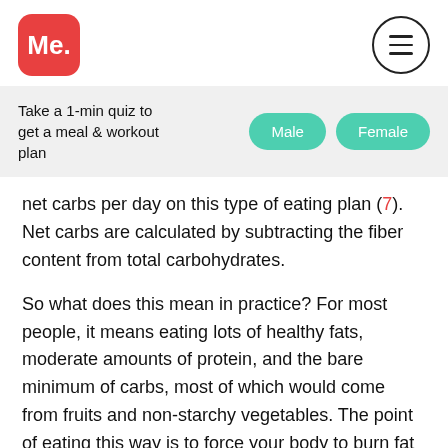[Figure (logo): Red rounded square logo with white text 'Me.']
[Figure (other): Circle menu button with three horizontal lines (hamburger icon)]
Take a 1-min quiz to get a meal & workout plan
Male
Female
net carbs per day on this type of eating plan (7). Net carbs are calculated by subtracting the fiber content from total carbohydrates.
So what does this mean in practice? For most people, it means eating lots of healthy fats, moderate amounts of protein, and the bare minimum of carbs, most of which would come from fruits and non-starchy vegetables. The point of eating this way is to force your body to burn fat for energy instead of glucose.